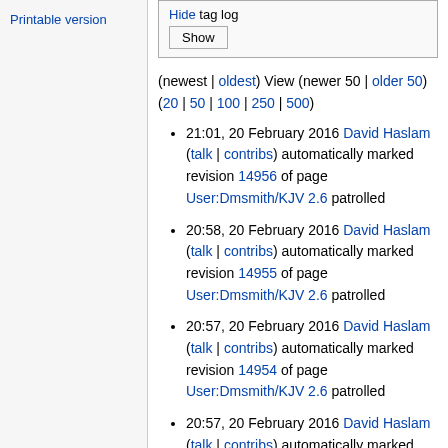Printable version
Hide tag log
Show
(newest | oldest) View (newer 50 | older 50) (20 | 50 | 100 | 250 | 500)
21:01, 20 February 2016 David Haslam (talk | contribs) automatically marked revision 14956 of page User:Dmsmith/KJV 2.6 patrolled
20:58, 20 February 2016 David Haslam (talk | contribs) automatically marked revision 14955 of page User:Dmsmith/KJV 2.6 patrolled
20:57, 20 February 2016 David Haslam (talk | contribs) automatically marked revision 14954 of page User:Dmsmith/KJV 2.6 patrolled
20:57, 20 February 2016 David Haslam (talk | contribs) automatically marked revision 14953 of page